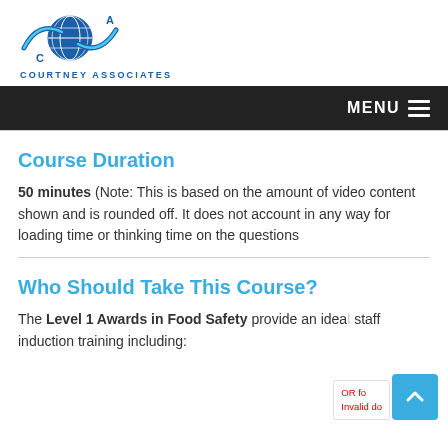[Figure (logo): Courtney Associates logo with blue globe and swoosh, text COURTNEY ASSOCIATES below]
MENU
Course Duration
50 minutes (Note: This is based on the amount of video content shown and is rounded off. It does not account in any way for loading time or thinking time on the questions
Who Should Take This Course?
The Level 1 Awards in Food Safety provide an ideal staff induction training including: